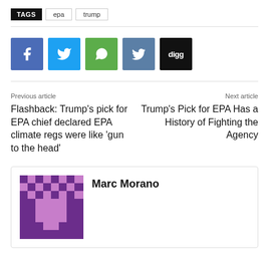TAGS  epa  trump
[Figure (other): Social share buttons: Facebook, Twitter, WhatsApp, VK, Digg]
Previous article
Flashback: Trump's pick for EPA chief declared EPA climate regs were like 'gun to the head'
Next article
Trump's Pick for EPA Has a History of Fighting the Agency
[Figure (photo): Pixel art avatar of Marc Morano in purple tones]
Marc Morano